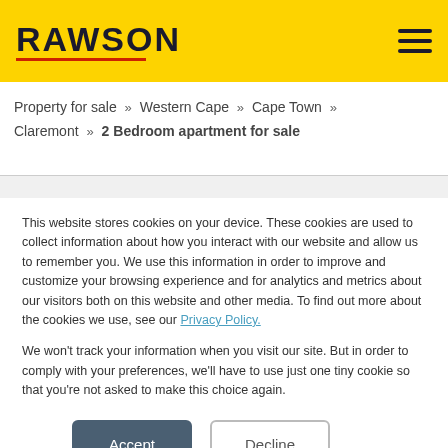RAWSON
Property for sale » Western Cape » Cape Town » Claremont » 2 Bedroom apartment for sale
This website stores cookies on your device. These cookies are used to collect information about how you interact with our website and allow us to remember you. We use this information in order to improve and customize your browsing experience and for analytics and metrics about our visitors both on this website and other media. To find out more about the cookies we use, see our Privacy Policy.
We won't track your information when you visit our site. But in order to comply with your preferences, we'll have to use just one tiny cookie so that you're not asked to make this choice again.
Accept
Decline